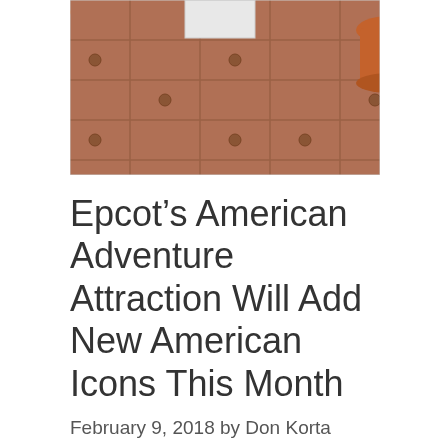[Figure (photo): Outdoor tiled patio/courtyard with terracotta floor tiles, terracotta plant pots, and a white rectangular object. Photo is cropped showing only the lower portion.]
Epcot’s American Adventure Attraction Will Add New American Icons This Month
February 9, 2018 by Don Korta
Among everything to see and do around the World Showcase Lagoon at Epcot, a guest-favorite that has been there since day one is The American Adventure attraction. This marvel of engineering brings together a moving stage, 35 Audio-Animatronics figures and a giant screen